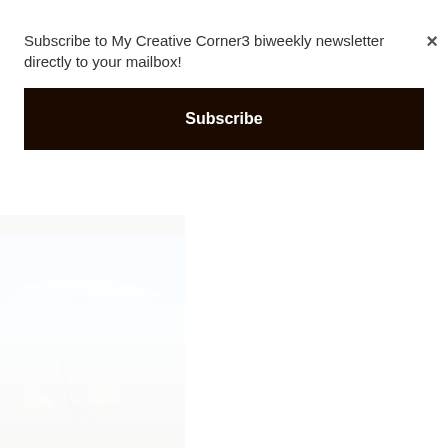Subscribe to My Creative Corner3 biweekly newsletter directly to your mailbox!
Subscribe
×
[Figure (photo): Aerial photograph taken from an airplane window showing a city and surrounding landscape below with blue sky and clouds above.]